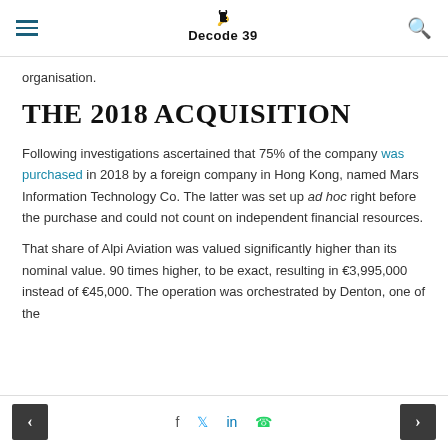decode 39
organisation.
THE 2018 ACQUISITION
Following investigations ascertained that 75% of the company was purchased in 2018 by a foreign company in Hong Kong, named Mars Information Technology Co. The latter was set up ad hoc right before the purchase and could not count on independent financial resources.
That share of Alpi Aviation was valued significantly higher than its nominal value. 90 times higher, to be exact, resulting in €3,995,000 instead of €45,000. The operation was orchestrated by Denton, one of the
< f t in whatsapp >